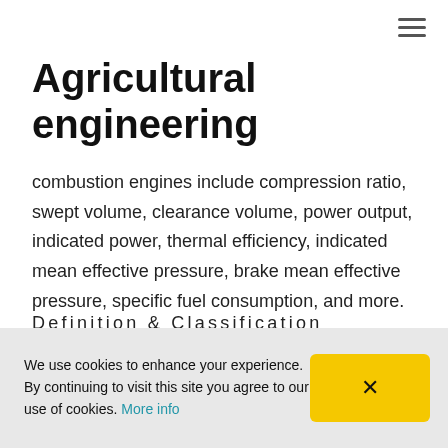≡
Agricultural engineering
combustion engines include compression ratio, swept volume, clearance volume, power output, indicated power, thermal efficiency, indicated mean effective pressure, brake mean effective pressure, specific fuel consumption, and more.
Definition & Classification
Heat engines are energy conversion machines—they convert
We use cookies to enhance your experience. By continuing to visit this site you agree to our use of cookies. More info